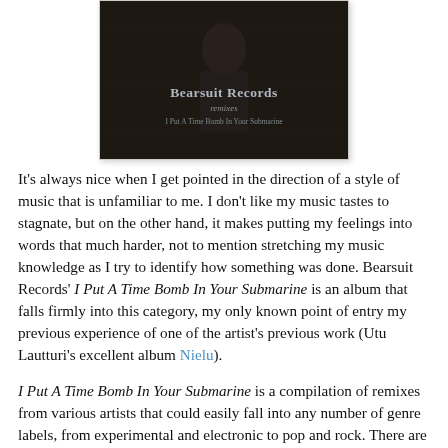[Figure (photo): Album cover for Bearsuit Records remixes - 'I Put A Time Bomb In Your Submarine'. Dark vintage photograph of a person with text overlay showing 'Bearsuit Records remixes' and 'I Put A Time Bomb In Your Submarine'.]
It's always nice when I get pointed in the direction of a style of music that is unfamiliar to me. I don't like my music tastes to stagnate, but on the other hand, it makes putting my feelings into words that much harder, not to mention stretching my music knowledge as I try to identify how something was done. Bearsuit Records' I Put A Time Bomb In Your Submarine is an album that falls firmly into this category, my only known point of entry my previous experience of one of the artist's previous work (Utu Lautturi's excellent album Nielu).
I Put A Time Bomb In Your Submarine is a compilation of remixes from various artists that could easily fall into any number of genre labels, from experimental and electronic to pop and rock. There are commonalities though. Many of the